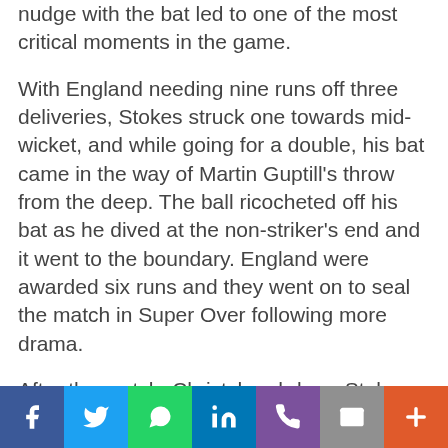nudge with the bat led to one of the most critical moments in the game.
With England needing nine runs off three deliveries, Stokes struck one towards mid-wicket, and while going for a double, his bat came in the way of Martin Guptill’s throw from the deep. The ball ricocheted off his bat as he dived at the non-striker’s end and it went to the boundary. England were awarded six runs and they went on to seal the match in Super Over following more drama.
After the match, Christchurch-born Stokes said: “I am pretty lost for words. All the hard work to get here and be world champions, it’s an amazing feeling. Playing against New Zealand is always a good event, they are good blah”
[Figure (infographic): Social media sharing bar with icons for Facebook, Twitter, WhatsApp, LinkedIn, Phone/share, Email, and a plus button]